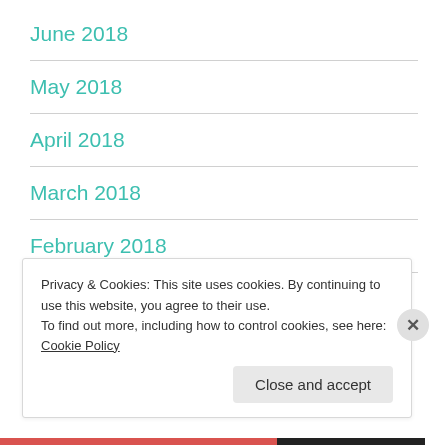June 2018
May 2018
April 2018
March 2018
February 2018
November 2017
Privacy & Cookies: This site uses cookies. By continuing to use this website, you agree to their use.
To find out more, including how to control cookies, see here: Cookie Policy
Close and accept